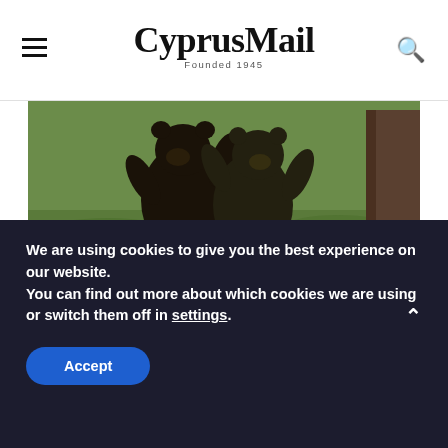CyprusMail — Founded 1945
[Figure (photo): Two bear cubs standing upright appearing to dance or wrestle in a forest clearing with green grass and a tree trunk visible on the right]
Brainberries
Bear Cubs 'Dancing' In Forest Delight The Internet
We are using cookies to give you the best experience on our website.
You can find out more about which cookies we are using or switch them off in settings.